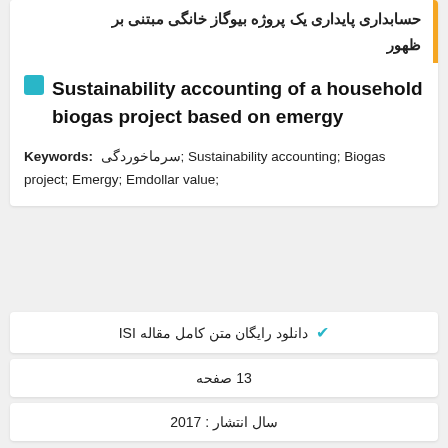حسابداری پایداری یک پروژه بیوگاز خانگی مبتنی بر ظهور
Sustainability accounting of a household biogas project based on emergy
Keywords: سرماخوردگی; Sustainability accounting; Biogas project; Emergy; Emdollar value;
✔ دانلود رایگان متن کامل مقاله ISI
13 صفحه
سال انتشار : 2017